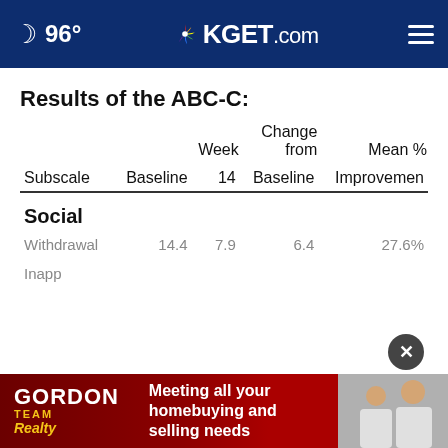96° KGET.com
Results of the ABC-C:
| Subscale | Baseline | Week 14 | Change from Baseline | Mean % Improvement |
| --- | --- | --- | --- | --- |
| Social |  |  |  |  |
| Withdrawal | 14.4 | 7.9 | 6.4 | 27.6% |
| Inapp... |  |  |  |  |
[Figure (other): Gordon Team Realty advertisement banner at bottom of page]